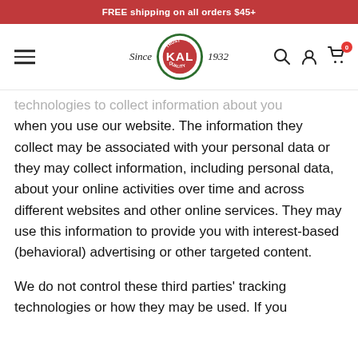FREE shipping on all orders $45+
[Figure (logo): KAL brand logo with 'Since 1932' text and navigation icons (hamburger menu, search, user, cart with 0 badge)]
technologies to collect information about you when you use our website. The information they collect may be associated with your personal data or they may collect information, including personal data, about your online activities over time and across different websites and other online services. They may use this information to provide you with interest-based (behavioral) advertising or other targeted content.
We do not control these third parties' tracking technologies or how they may be used. If you